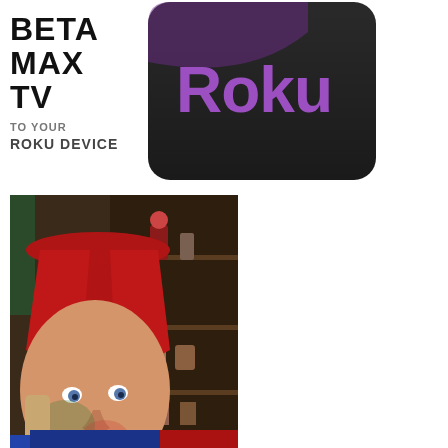[Figure (logo): Beta Max TV logo with bold stacked text reading BETA MAX TV]
[Figure (logo): Roku app icon: dark rounded square with purple Roku wordmark]
TO YOUR ROKU DEVICE
[Figure (photo): Close-up photo of a person wearing a red fez hat, looking at the camera, with shelves of figurines/collectibles in the background]